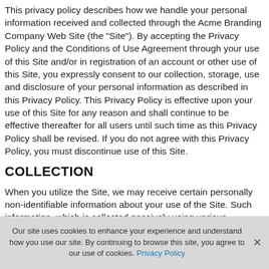This privacy policy describes how we handle your personal information received and collected through the Acme Branding Company Web Site (the "Site"). By accepting the Privacy Policy and the Conditions of Use Agreement through your use of this Site and/or in registration of an account or other use of this Site, you expressly consent to our collection, storage, use and disclosure of your personal information as described in this Privacy Policy. This Privacy Policy is effective upon your use of this Site for any reason and shall continue to be effective thereafter for all users until such time as this Privacy Policy shall be revised. If you do not agree with this Privacy Policy, you must discontinue use of this Site.
COLLECTION
When you utilize the Site, we may receive certain personally non-identifiable information about your use of the Site. Such information, which is collected passively using various technologies, cannot presently be used to specifically identify you. We may store such information ourselves or it may be included in databases owned and maintained by our affiliates, agents or service providers. We may use
Our site uses cookies to enhance your experience and understand how you use our site. By continuing to browse this site, you agree to our use of cookies. Privacy Policy